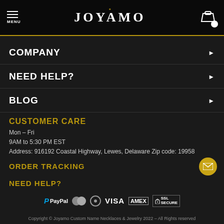MENU | JOYAMO | Cart
COMPANY ▶
NEED HELP? ▶
BLOG ▶
CUSTOMER CARE
Mon – Fri
9AM to 5:30 PM EST
Address: 916192 Coastal Highway, Lewes, Delaware Zip code: 19958
ORDER TRACKING
NEED HELP?
[Figure (logo): Payment method logos: PayPal, Mastercard, Diners Club, VISA, AMEX, SSL Secure]
Copyright © Joyamo Custom Name Necklaces & Jewelry 2022 – All Rights reserved